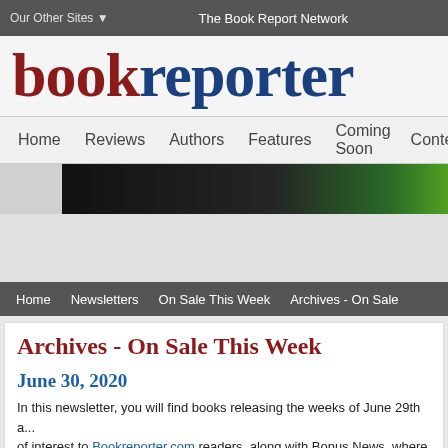Our Other Sites ▼   The Book Report Network
bookreporter
Home   Reviews   Authors   Features   Coming Soon   Conte
[Figure (photo): Dark banner image with green accent on the right side]
Home   Newsletters   On Sale This Week   Archives - On Sale
Archives - On Sale This Week
June 30, 2020
In this newsletter, you will find books releasing the weeks of June 29th a... of interest to Bookreporter.com readers, along with Bonus News, where